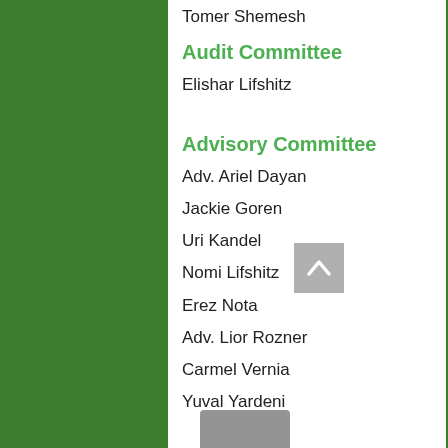Tomer Shemesh
Audit Committee
Elishar Lifshitz
Advisory Committee
Adv. Ariel Dayan
Jackie Goren
Uri Kandel
Nomi Lifshitz
Erez Nota
Adv. Lior Rozner
Carmel Vernia
Yuval Yardeni
Founders
Yoni Yefet Reich
Nadav Bensuss…